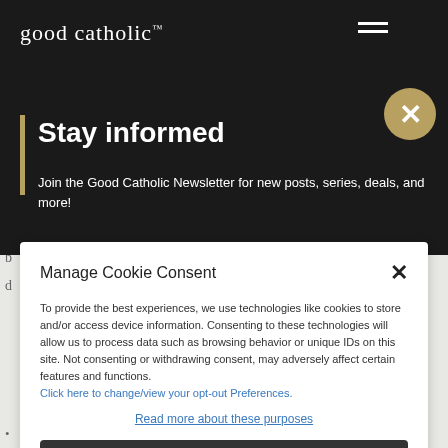[Figure (screenshot): Good Catholic website header with logo and hamburger menu on dark background]
Stay informed
Join the Good Catholic Newsletter for new posts, series, deals, and more!
Manage Cookie Consent
To provide the best experiences, we use technologies like cookies to store and/or access device information. Consenting to these technologies will allow us to process data such as browsing behavior or unique IDs on this site. Not consenting or withdrawing consent, may adversely affect certain features and functions. Click here to change/view your opt-out Preferences.
Read more about these purposes
Accept